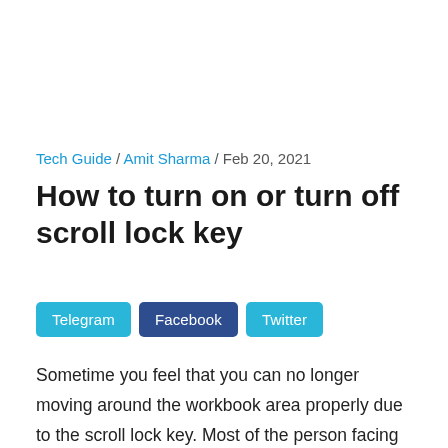Tech Guide / Amit Sharma / Feb 20, 2021
How to turn on or turn off scroll lock key
Telegram  Facebook  Twitter
Sometime you feel that you can no longer moving around the workbook area properly due to the scroll lock key. Most of the person facing lot of issues to turn on or turn off scroll lock button at his system. During working on excel sheet When you press any